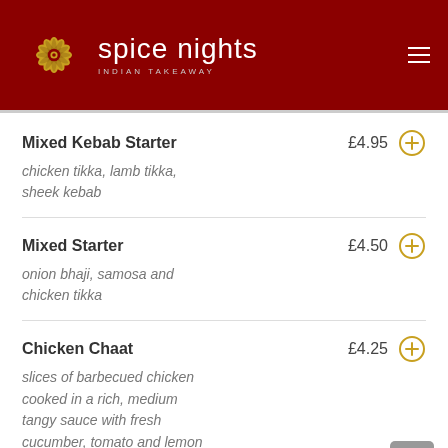Spice Nights — Indian Takeaway
Mixed Kebab Starter — £4.95 — chicken tikka, lamb tikka, sheek kebab
Mixed Starter — £4.50 — onion bhaji, samosa and chicken tikka
Chicken Chaat — £4.25 — slices of barbecued chicken cooked in a rich, medium tangy sauce with fresh cucumber, tomato and lemon juice